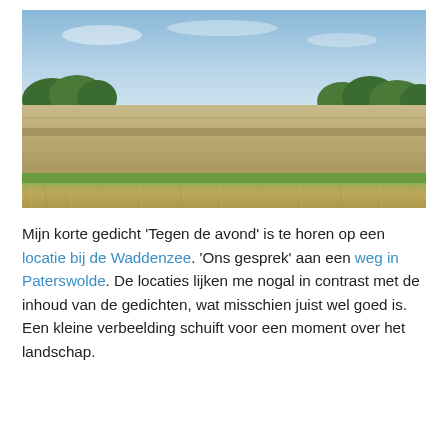[Figure (photo): Landscape photograph showing a flat agricultural field with dry grassy foreground, green strip of low vegetation, plowed earth, and a row of trees along the horizon under a mostly blue sky with light clouds.]
Mijn korte gedicht 'Tegen de avond' is te horen op een locatie bij de Waddenzee. 'Ons gesprek' aan een weg in Paterswolde. De locaties lijken me nogal in contrast met de inhoud van de gedichten, wat misschien juist wel goed is. Een kleine verbeelding schuift voor een moment over het landschap.